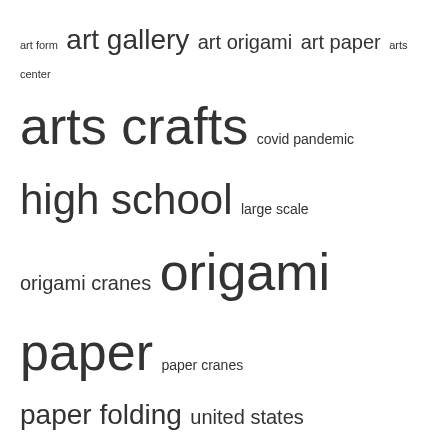[Figure (other): Tag cloud with origami and art-related keywords in varying font sizes]
RECENT POSTS
Hoyt offers fall classes for adults | Lifestyles
Engineers use origami techniques to build everything from spaceships to antenna arrays. –ScienceDaily
Arkansas Municipal League Selects Origami Risk Core Suite to Increase Efficiency in Workers' Compensation, Auto and Property Insurance